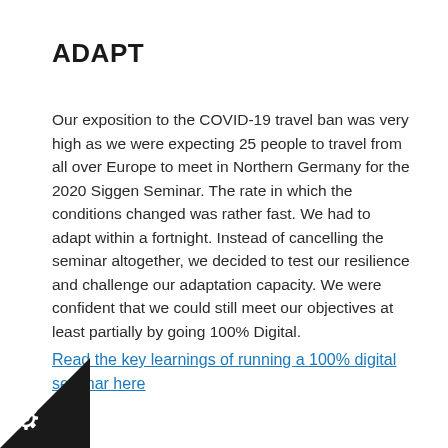ADAPT
Our exposition to the COVID-19 travel ban was very high as we were expecting 25 people to travel from all over Europe to meet in Northern Germany for the 2020 Siggen Seminar. The rate in which the conditions changed was rather fast. We had to adapt within a fortnight. Instead of cancelling the seminar altogether, we decided to test our resilience and challenge our adaptation capacity. We were confident that we could still meet our objectives at least partially by going 100% Digital.
Read the key learnings of running a 100% digital seminar here